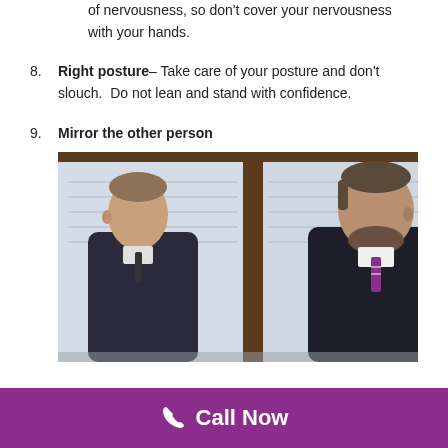of nervousness, so don't cover your nervousness with your hands.
8. Right posture– Take care of your posture and don't slouch.  Do not lean and stand with confidence.
9. Mirror the other person
[Figure (photo): Two men in business suits facing each other near a window with wooden frames, appearing to mirror each other's body language.]
Call Now